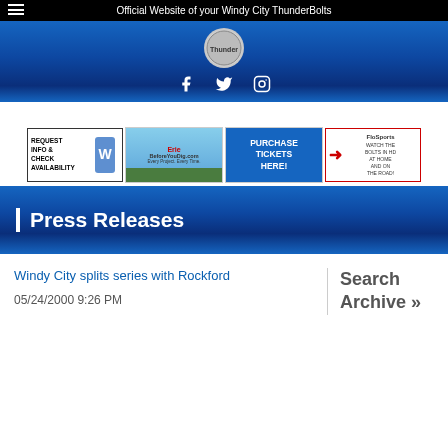Official Website of your Windy City ThunderBolts
[Figure (logo): ThunderBolts team logo circle with social media icons (Facebook, Twitter, Instagram) below]
[Figure (infographic): Four advertisement banners: Request Info & Check Availability, Erie BeforeYouDig.com, Purchase Tickets Here!, FloSports watch the Bolts in HD at home and on the road]
Press Releases
Windy City splits series with Rockford
05/24/2000 9:26 PM
Search Archive »